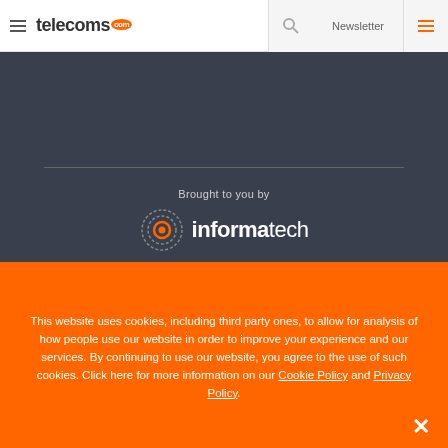telecoms.com — Navigation header with search and newsletter
[Figure (logo): Informa Tech logo with 'Brought to you by' text on dark background]
This website uses cookies, including third party ones, to allow for analysis of how people use our website in order to improve your experience and our services. By continuing to use our website, you agree to the use of such cookies. Click here for more information on our Cookie Policy and Privacy Policy.